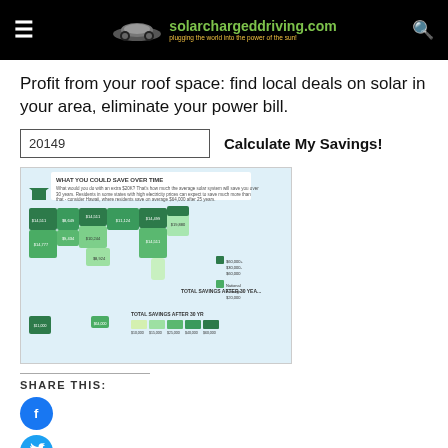solarchargeddriving.com — plugging the world into the power of the sun!
Profit from your roof space: find local deals on solar in your area, eliminate your power bill.
20149   Calculate My Savings!
[Figure (map): US map infographic titled 'What You Could Save Over Time' showing solar savings estimates by state over 30 years, with a color legend ranging from light yellow-green to dark green indicating total savings after 30 years.]
SHARE THIS:
[Figure (logo): Facebook share button — blue circle with white 'f' icon]
[Figure (logo): Twitter/X share button — cyan circle with white bird icon]